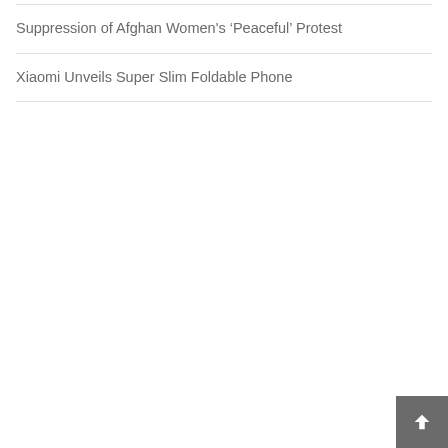Suppression of Afghan Women’s ‘Peaceful’ Protest
Xiaomi Unveils Super Slim Foldable Phone